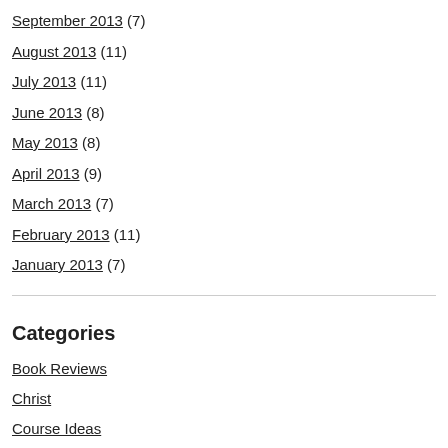September 2013 (7)
August 2013 (11)
July 2013 (11)
June 2013 (8)
May 2013 (8)
April 2013 (9)
March 2013 (7)
February 2013 (11)
January 2013 (7)
Categories
Book Reviews
Christ
Course Ideas